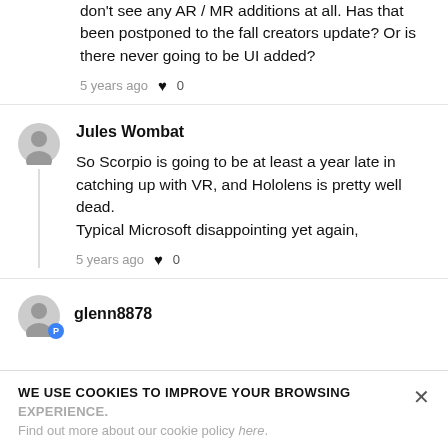don't see any AR / MR additions at all. Has that been postponed to the fall creators update? Or is there never going to be UI added?
5 years ago ♥ 0
Jules Wombat
So Scorpio is going to be at least a year late in catching up with VR, and Hololens is pretty well dead.
Typical Microsoft disappointing yet again,
5 years ago ♥ 0
glenn8878
WE USE COOKIES TO IMPROVE YOUR BROWSING EXPERIENCE.
Find out more about our cookie policy here.